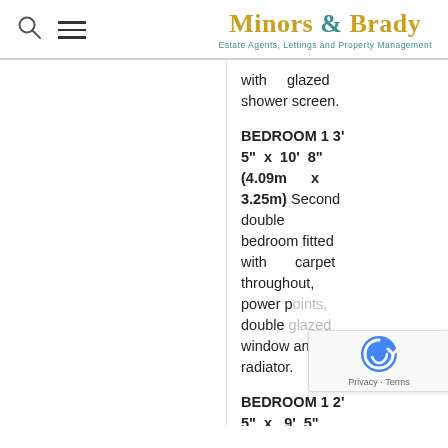Minors & Brady — Estate Agents, Lettings and Property Management
with glazed shower screen.
BEDROOM 1 3' 5" x 10' 8" (4.09m x 3.25m) Second double bedroom fitted with carpet throughout, power points, double glazed window and a radiator.
BEDROOM 1 2' 5" x 9' 5" (3.78m x 2.87m) Third double bedroom fitted...